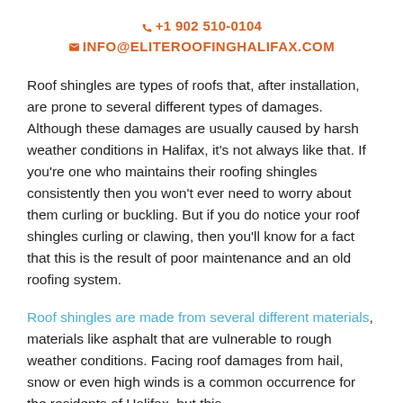📞 +1 902 510-0104  ✉ INFO@ELITEROOFINGHALIFAX.COM
Roof shingles are types of roofs that, after installation, are prone to several different types of damages. Although these damages are usually caused by harsh weather conditions in Halifax, it's not always like that. If you're one who maintains their roofing shingles consistently then you won't ever need to worry about them curling or buckling. But if you do notice your roof shingles curling or clawing, then you'll know for a fact that this is the result of poor maintenance and an old roofing system.
Roof shingles are made from several different materials, materials like asphalt that are vulnerable to rough weather conditions. Facing roof damages from hail, snow or even high winds is a common occurrence for the residents of Halifax, but this